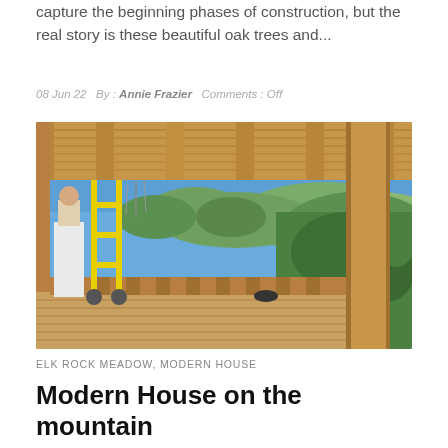capture the beginning phases of construction, but the real story is these beautiful oak trees and...
08 Jun 22   By : Annie Frazier   Comments : Off
[Figure (photo): Interior of a timber-framed structure under construction, with wooden beams and subfloor visible, scaffolding on the left with a worker in white pants, and a panoramic view of green forested hills and blue sky visible through the open framing.]
ELK ROCK MEADOW, MODERN HOUSE
Modern House on the mountain